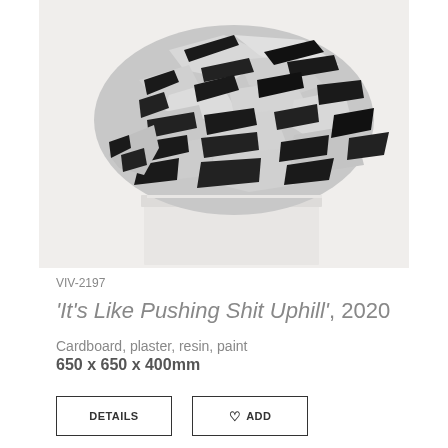[Figure (photo): Black and white striped sculptural artwork made of cardboard, plaster, resin and paint, sitting on a white plinth. The sculpture has a crumpled, angular form with alternating black and white/grey painted stripes.]
VIV-2197
'It's Like Pushing Shit Uphill', 2020
Cardboard, plaster, resin, paint
650 x 650 x 400mm
DETAILS
♡ ADD